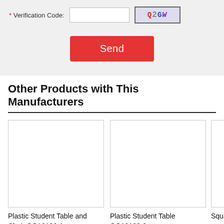* Verification Code:
[Figure (screenshot): CAPTCHA image showing characters Q 2 G W with colorful distorted text on a light background]
[Figure (screenshot): Send button — red rounded rectangle with white text 'Send']
Other Products with This Manufacturers
[Figure (photo): Empty white product image box for Plastic Student Table and Chair QQ12186-1]
Plastic Student Table and Chair QQ12186-1
[Figure (photo): Empty white product image box for Plastic Student Table QQ12188-2]
Plastic Student Table QQ12188-2
[Figure (photo): Partial empty white product image box for Square Table (partially visible)]
Square Table (partially visible)